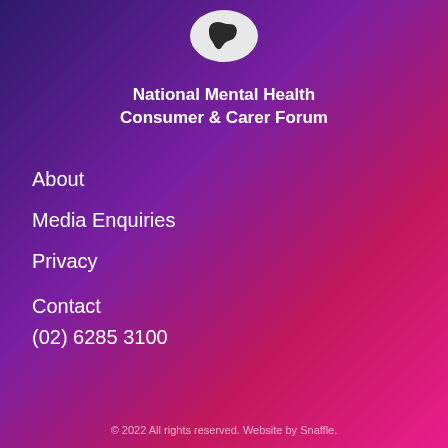[Figure (logo): Speech bubble logo with Australian map silhouette inside, white on dark background]
National Mental Health Consumer & Carer Forum
About
Media Enquiries
Privacy
Contact
(02) 6285 3100
© 2022 All rights reserved. Website by Snaffle.